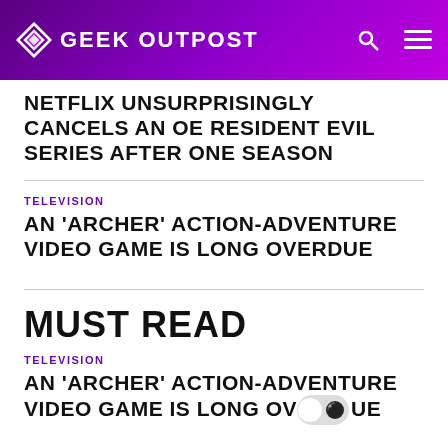GEEK OUTPOST
NETFLIX UNSURPRISINGLY CANCELS AN OE RESIDENT EVIL SERIES AFTER ONE SEASON
TELEVISION
AN 'ARCHER' ACTION-ADVENTURE VIDEO GAME IS LONG OVERDUE
MUST READ
TELEVISION
AN 'ARCHER' ACTION-ADVENTURE VIDEO GAME IS LONG OVERDUE